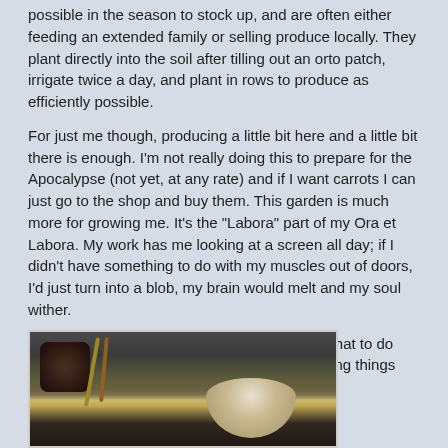possible in the season to stock up, and are often either feeding an extended family or selling produce locally. They plant directly into the soil after tilling out an orto patch, irrigate twice a day, and plant in rows to produce as efficiently possible.
For just me though, producing a little bit here and a little bit there is enough. I'm not really doing this to prepare for the Apocalypse (not yet, at any rate) and if I want carrots I can just go to the shop and buy them. This garden is much more for growing me. It's the "Labora" part of my Ora et Labora. My work has me looking at a screen all day; if I didn't have something to do with my muscles out of doors, I'd just turn into a blob, my brain would melt and my soul wither.
And even so, I have more than I really know what to do with. So, I've been having a bit of fun deep frying things lately...
[Figure (photo): A kitchen scene showing cooking utensils, a bowl with food items, and cooking equipment on a stovetop or counter, photographed in dim lighting.]